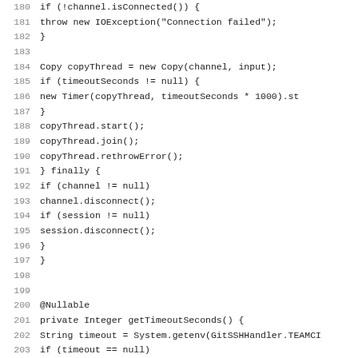[Figure (screenshot): Source code listing in Java showing lines 180-211 of a file. The code includes exception handling with try/finally blocks, thread management (copyThread), and a getTimeoutSeconds() method with @Nullable annotation.]